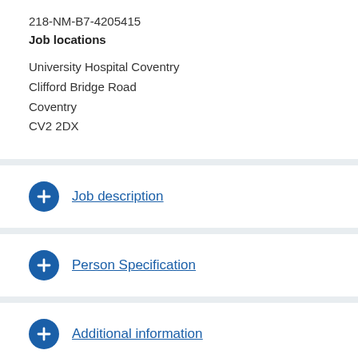218-NM-B7-4205415
Job locations
University Hospital Coventry
Clifford Bridge Road
Coventry
CV2 2DX
Job description
Person Specification
Additional information